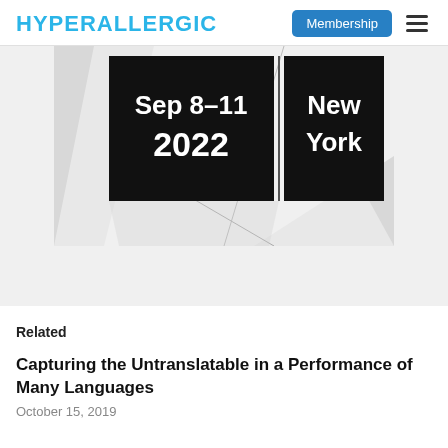HYPERALLERGIC
[Figure (photo): Event promotional image showing two black panels with white bold text reading 'Sep 8–11 2022' and 'New York', overlaid on a gray/white abstract paper background]
Related
Capturing the Untranslatable in a Performance of Many Languages
October 15, 2019